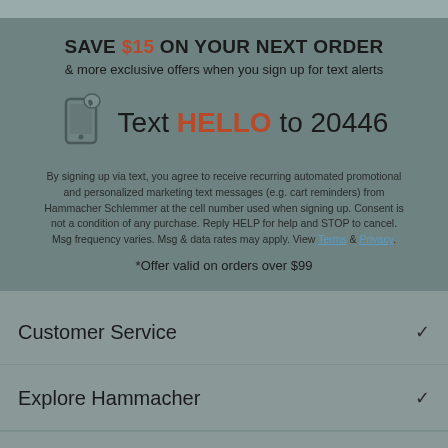SAVE $15 ON YOUR NEXT ORDER
& more exclusive offers when you sign up for text alerts
Text HELLO to 20446
By signing up via text, you agree to receive recurring automated promotional and personalized marketing text messages (e.g. cart reminders) from Hammacher Schlemmer at the cell number used when signing up. Consent is not a condition of any purchase. Reply HELP for help and STOP to cancel. Msg frequency varies. Msg & data rates may apply. View Terms & Privacy.
*Offer valid on orders over $99
Customer Service
Explore Hammacher